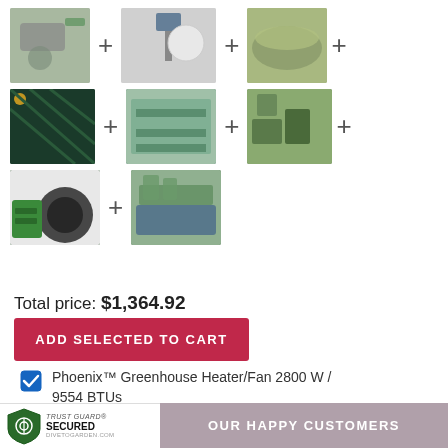[Figure (infographic): Product bundle grid showing 8 product images arranged in 3 rows with plus signs between them. Row 1: greenhouse heater fan device + solar light + galvanized tub + (continues). Row 2: shade netting + greenhouse shelf + raised garden planters + (continues). Row 3: Phoenix heater/fan device + raised garden bed planter.]
Total price: $1,364.92
ADD SELECTED TO CART
Phoenix™ Greenhouse Heater/Fan 2800 W / 9554 BTUs
TRUST GUARD® SECURED DIVETOGARDEN.COM  OUR HAPPY CUSTOMERS